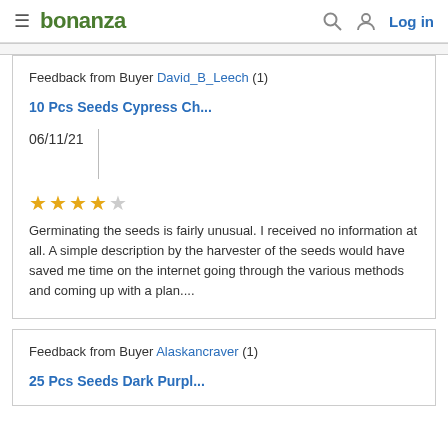bonanza  Log in
Feedback from Buyer David_B_Leech (1)
10 Pcs Seeds Cypress Ch...
06/11/21
★★★★☆ Germinating the seeds is fairly unusual. I received no information at all. A simple description by the harvester of the seeds would have saved me time on the internet going through the various methods and coming up with a plan....
Feedback from Buyer Alaskancraver (1)
25 Pcs Seeds Dark Purpl...